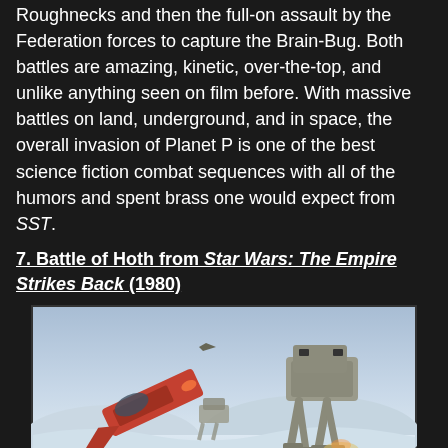Roughnecks and then the full-on assault by the Federation forces to capture the Brain-Bug. Both battles are amazing, kinetic, over-the-top, and unlike anything seen on film before. With massive battles on land, underground, and in space, the overall invasion of Planet P is one of the best science fiction combat sequences with all of the humors and spent brass one would expect from SST.
7. Battle of Hoth from Star Wars: The Empire Strikes Back (1980)
[Figure (photo): Scene from Star Wars: The Empire Strikes Back showing the Battle of Hoth — an AT-AT walker stands on a snowy landscape while a Rebel snowspeeder crashes in the foreground, with snowy mountains in the background and a grey sky.]
Well, of course this one is going to be on the list...how could it not be? The Battle of Hoth is an amazing achievement in 1980 SFX technology and it works perfectly to clearly broadcast the military power of the Empire. This was one of the first to show combined arms in science fiction as well as